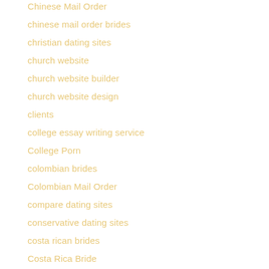Chinese Mail Order
chinese mail order brides
christian dating sites
church website
church website builder
church website design
clients
college essay writing service
College Porn
colombian brides
Colombian Mail Order
compare dating sites
conservative dating sites
costa rican brides
Costa Rica Bride